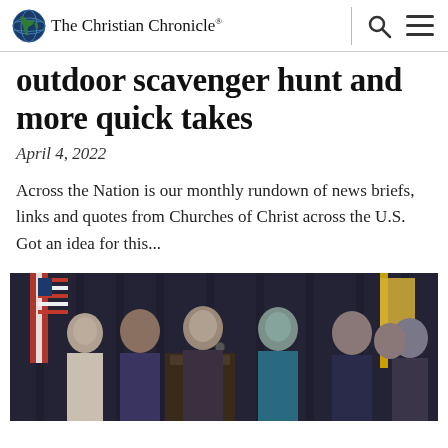The Christian Chronicle®
outdoor scavenger hunt and more quick takes
April 4, 2022
Across the Nation is our monthly rundown of news briefs, links and quotes from Churches of Christ across the U.S. Got an idea for this...
[Figure (photo): Group of people gathered around a podium with microphones, with flags in the background, appearing to be at a formal or political event]